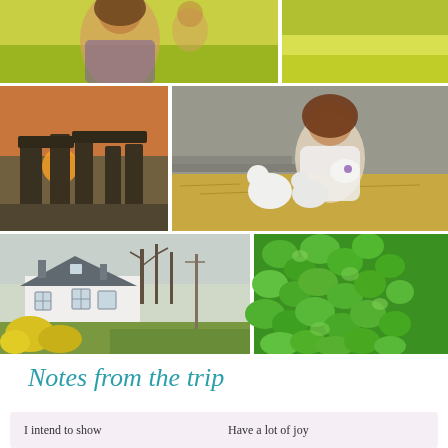[Figure (photo): Row of travel photos: woman in yellow rapeseed field (left), yellow rapeseed field landscape (right)]
[Figure (photo): Stonehenge at sunset (left), woman holding baby goat/lamb in barn with straw (right)]
[Figure (photo): White Scottish cottage with yellow gorse flowers (left), close-up green ivy/clover leaves (right)]
Notes from the trip
I intend to show     Have a lot of joy